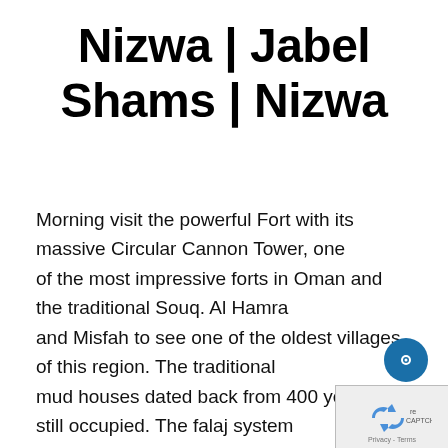Nizwa | Jabel Shams | Nizwa
Morning visit the powerful Fort with its massive Circular Cannon Tower, one of the most impressive forts in Oman and the traditional Souq. Al Hamra and Misfah to see one of the oldest villages of this region. The traditional mud houses dated back from 400 years are still occupied. The falaj system used in this village one of the oldest of this kind (UNESCO site). Thereafter drive to visit Wadi Gul & Wadi Nakhar the remote villages and the drop point of great canyon. Then proceed to Jabel Shams, one of